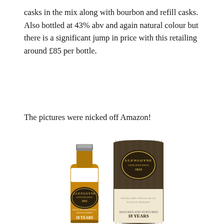casks in the mix along with bourbon and refill casks. Also bottled at 43% abv and again natural colour but there is a significant jump in price with this retailing around £85 per bottle.
The pictures were nicked off Amazon!
[Figure (photo): Photo of Glengoyne 18 Years whisky bottle and cylindrical gift box/tube. The bottle shows amber whisky with the Glengoyne label (Unpeated Since 1833, Highland Single Malt Scotch Whisky, 18 Years). The dark gold/bronze textured tube also shows Glengoyne branding (Unpeated Since 1833) and 18 Years label.]